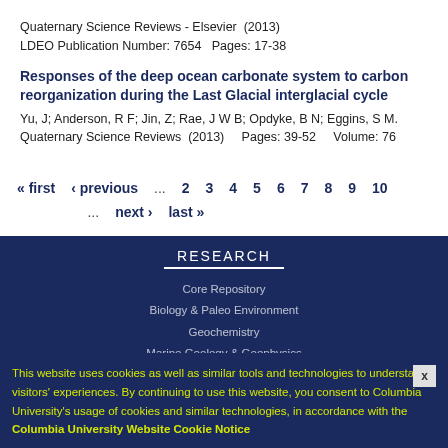Quaternary Science Reviews - Elsevier (2013)
LDEO Publication Number: 7654  Pages: 17-38
Responses of the deep ocean carbonate system to carbon reorganization during the Last Glacial interglacial cycle
Yu, J; Anderson, R F; Jin, Z; Rae, J W B; Opdyke, B N; Eggins, S M.
Quaternary Science Reviews (2013)    Pages: 39-52    Volume: 76
« first  ‹ previous  ... 2 3 4 5 6 7 8 9 10 ... next › last »
RESEARCH
Core Repository
Biology & Paleo Environment
Geochemistry
Marine Geology & Geophysics
Ocean & Climate Physics
Office of Marine Operations
This website uses cookies as well as similar tools and technologies to understand visitors' experiences. By continuing to use this website, you consent to Columbia University's usage of cookies and similar technologies, in accordance with the Columbia University Website Cookie Notice